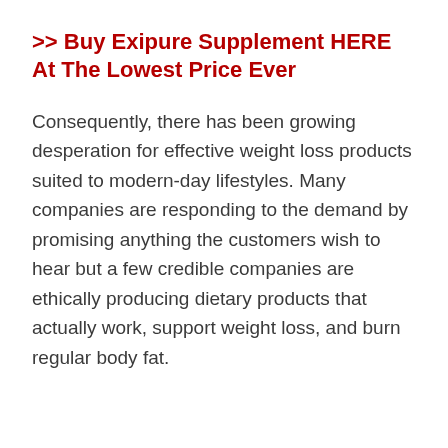>> Buy Exipure Supplement HERE At The Lowest Price Ever
Consequently, there has been growing desperation for effective weight loss products suited to modern-day lifestyles. Many companies are responding to the demand by promising anything the customers wish to hear but a few credible companies are ethically producing dietary products that actually work, support weight loss, and burn regular body fat.